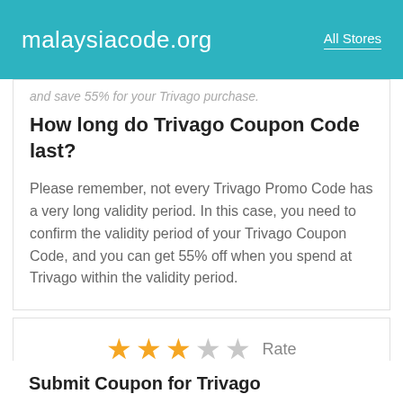malaysiacode.org | All Stores
and save 55% for your Trivago purchase.
How long do Trivago Coupon Code last?
Please remember, not every Trivago Promo Code has a very long validity period. In this case, you need to confirm the validity period of your Trivago Coupon Code, and you can get 55% off when you spend at Trivago within the validity period.
[Figure (infographic): Star rating display showing 3 filled gold stars and 2 empty grey stars, with label 'Rate' and score '3.0 / 32 Votes']
Submit Coupon for Trivago